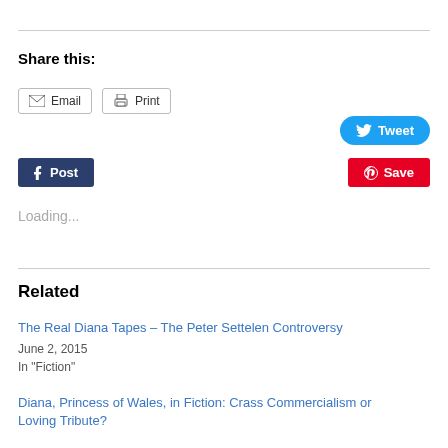Share this:
[Figure (infographic): Share buttons: Email, Print, Tweet, Post (Tumblr), Save (Pinterest)]
Loading...
Related
The Real Diana Tapes – The Peter Settelen Controversy
June 2, 2015
In "Fiction"
Diana, Princess of Wales, in Fiction: Crass Commercialism or Loving Tribute?